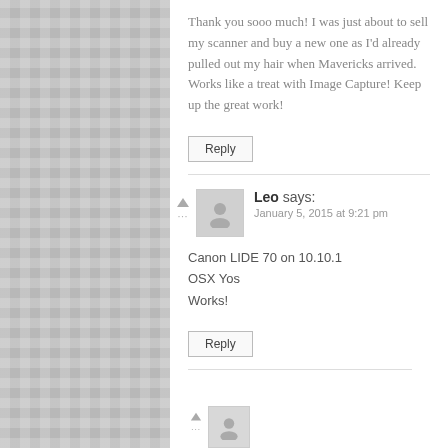Thank you sooo much! I was just about to sell my scanner and buy a new one as I’d already pulled out my hair when Mavericks arrived. Works like a treat with Image Capture! Keep up the great work!
Reply
Leo says: January 5, 2015 at 9:21 pm
Canon LIDE 70 on 10.10.1
OSX Yos
Works!
Reply